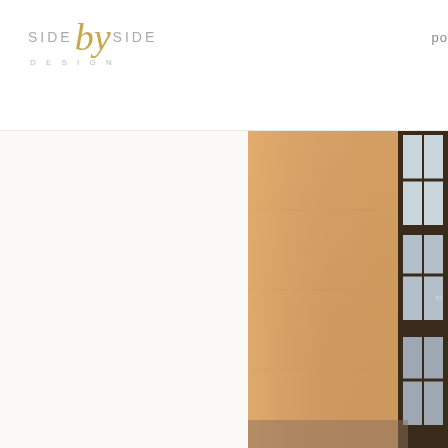[Figure (logo): Side by Side Design logo with gold cursive 'by' between two uppercase grey 'SIDE' words, with 'DESIGN' in small caps below]
po
[Figure (photo): Interior room photo showing warm orange/tan textured wall with dark wood window frame visible at right edge, partial view of what appears to be a living space]